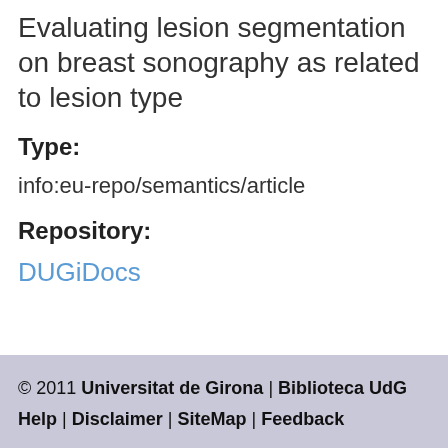Evaluating lesion segmentation on breast sonography as related to lesion type
Type:
info:eu-repo/semantics/article
Repository:
DUGiDocs
© 2011 Universitat de Girona | Biblioteca UdG Help | Disclaimer | SiteMap | Feedback